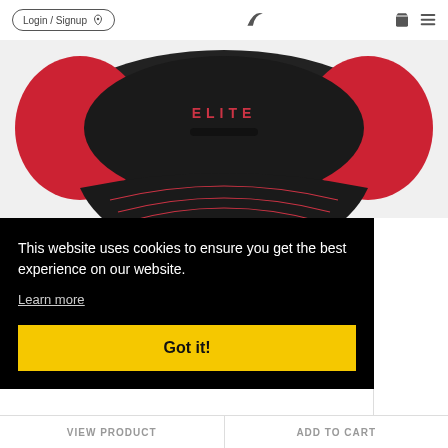Login / Signup  [anchor icon]  [logo]  [cart icon]  [menu icon]
[Figure (photo): Close-up photo of a black and red trucker cap with 'ELITE' text on the front panel and red mesh sides, viewed from below showing the brim with red stitching detail]
This website uses cookies to ensure you get the best experience on our website.
Learn more
Got it!
VIEW PRODUCT   ADD TO CART